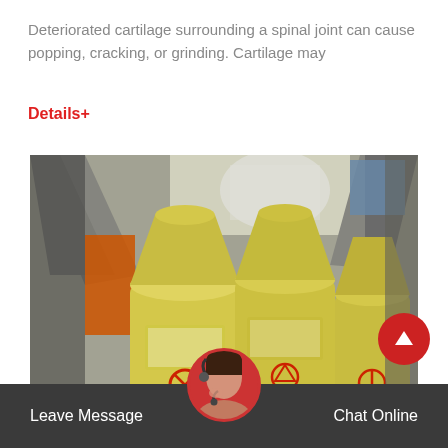Deteriorated cartilage surrounding a spinal joint can cause popping, cracking, or grinding. Cartilage may
Details+
[Figure (photo): Industrial grinding mill machines (yellow, cylindrical) arranged in a row inside a factory or warehouse setting. Metal structural beams visible above. Machines have red warning symbols on them.]
Leave Message   Chat Online